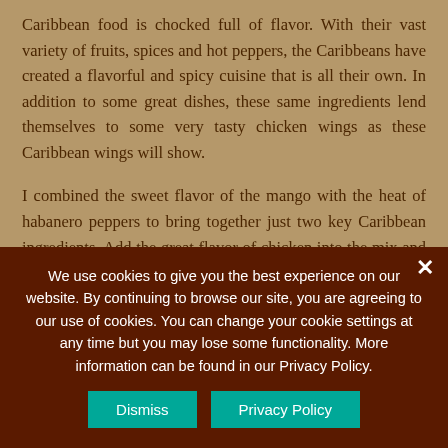Caribbean food is chocked full of flavor. With their vast variety of fruits, spices and hot peppers, the Caribbeans have created a flavorful and spicy cuisine that is all their own. In addition to some great dishes, these same ingredients lend themselves to some very tasty chicken wings as these Caribbean wings will show.
I combined the sweet flavor of the mango with the heat of habanero peppers to bring together just two key Caribbean ingredients. Add the great flavor of chicken into the mix and you find yourself with one great tasting chicken wing.
If you find fresh mango on the aisles of the...
We use cookies to give you the best experience on our website. By continuing to browse our site, you are agreeing to our use of cookies. You can change your cookie settings at any time but you may lose some functionality. More information can be found in our Privacy Policy.
Dismiss
Privacy Policy